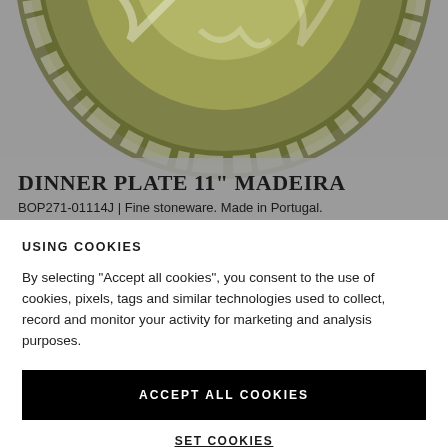[Figure (photo): Top-down view of a ceramic dinner plate with olive green and white mottled glaze pattern, shown on a grey background. Only the top portion of the plate is visible.]
DINNER PLATE 11" MADEIRA
BOP271-01114J | Fine stoneware. Made in Portugal.
USING COOKIES
By selecting "Accept all cookies", you consent to the use of cookies, pixels, tags and similar technologies used to collect, record and monitor your activity for marketing and analysis purposes.
ACCEPT ALL COOKIES
SET COOKIES